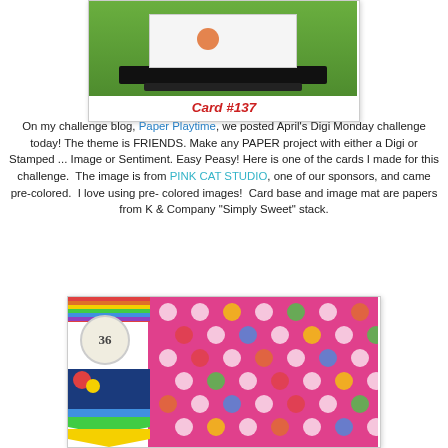[Figure (photo): Craft card displayed on a black stand against a green background]
Card #137
On my challenge blog, Paper Playtime, we posted April's Digi Monday challenge today! The theme is FRIENDS. Make any PAPER project with either a Digi or Stamped ... Image or Sentiment. Easy Peasy! Here is one of the cards I made for this challenge.  The image is from PINK CAT STUDIO, one of our sponsors, and came pre-colored.  I love using pre-colored images!  Card base and image mat are papers from K & Company "Simply Sweet" stack.
[Figure (photo): K & Company Simply Sweet paper stack package showing colorful polka dot and striped patterned papers with a '36 sheets' label]